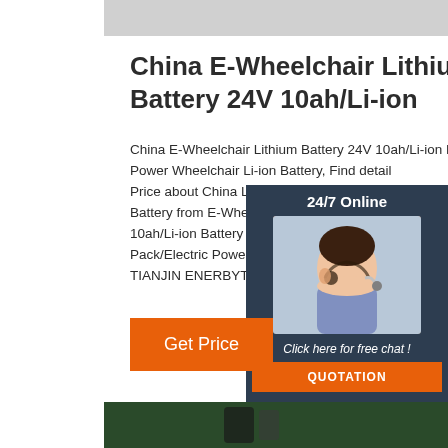[Figure (photo): Top portion of a product image (gray/light background), cropped at top of page]
China E-Wheelchair Lithium Battery 24V 10ah/Li-ion
China E-Wheelchair Lithium Battery 24V 10ah/Li-ion Battery Pack/Rechargeable Battery Pack/Electric Power Wheelchair Li-ion Battery, Find details and Price about China LiFePO4 Battery Pack, Li Battery from E-Wheelchair Lithium Battery 24V 10ah/Li-ion Battery Pack/Rechargeable Battery Pack/Electric Power Wheelchair Li-ion Battery - TIANJIN ENERBYTE ELECTRONICS CO.,
[Figure (photo): Chat widget with dark navy background showing a female customer service agent wearing a headset, with '24/7 Online' label, 'Click here for free chat!' text, and an orange QUOTATION button]
[Figure (other): Orange 'Get Price' button]
[Figure (photo): Bottom portion of a product image showing green and dark colored background, partially visible at bottom of page]